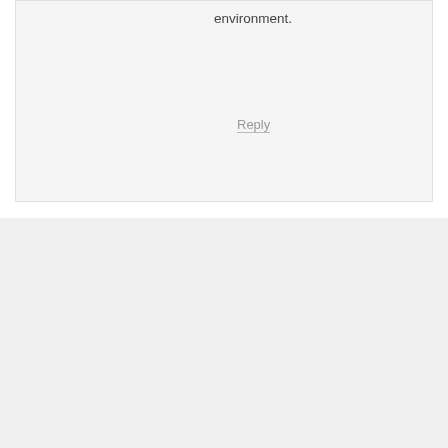environment.
Reply
[Figure (illustration): Avatar image of Mr. Groovy — a cartoon cat with purple fur wearing sunglasses and a black cap, on a purple background]
Mr. Groovy
April 22, 2016 at 6:58 am
Hey, Penny. This might be a bit off base, but I'm constantly amazed at the people who buy pets. It seems the more dire one's financial position is, the greater the likelihood one has a dog or a cat or a bird or a snake. Many people struggling financially have multiple pets. I just don't get it. Am I a curmudgeon?